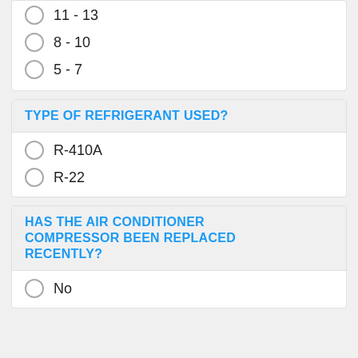11 - 13
8 - 10
5 - 7
TYPE OF REFRIGERANT USED?
R-410A
R-22
HAS THE AIR CONDITIONER COMPRESSOR BEEN REPLACED RECENTLY?
No